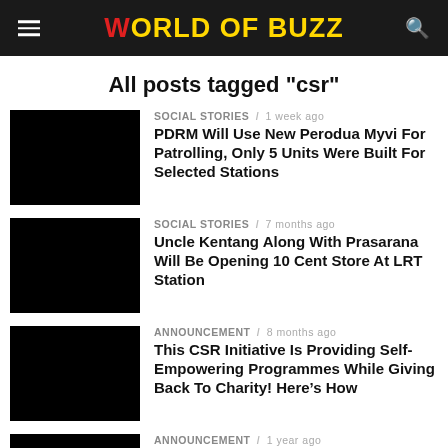WORLD OF BUZZ
All posts tagged "csr"
SOCIAL STORIES / 1 week ago
PDRM Will Use New Perodua Myvi For Patrolling, Only 5 Units Were Built For Selected Stations
SOCIAL STORIES / 7 months ago
Uncle Kentang Along With Prasarana Will Be Opening 10 Cent Store At LRT Station
ANNOUNCEMENT / 8 months ago
This CSR Initiative Is Providing Self-Empowering Programmes While Giving Back To Charity! Here’s How
ANNOUNCEMENT / 1 year ago
From Struggling M’sians To Animal Welfare, Vettons Is Pledging To Donate